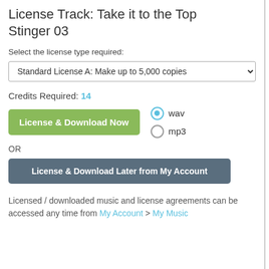License Track: Take it to the Top Stinger 03
Select the license type required:
Standard License A: Make up to 5,000 copies
Credits Required: 14
wav
mp3
License & Download Now
OR
License & Download Later from My Account
Licensed / downloaded music and license agreements can be accessed any time from My Account > My Music